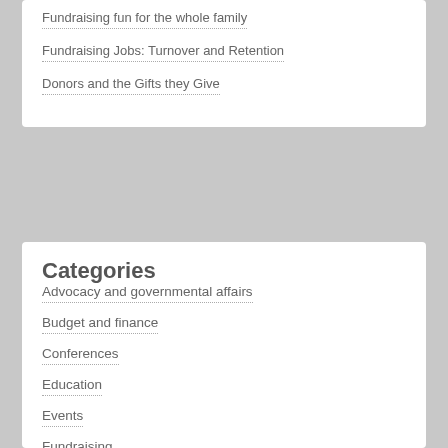Fundraising fun for the whole family
Fundraising Jobs: Turnover and Retention
Donors and the Gifts they Give
Categories
Advocacy and governmental affairs
Budget and finance
Conferences
Education
Events
Fundraising
General subjects
Major donor stewardship
Management
Nonprofit board governance
Strategic and operational planning